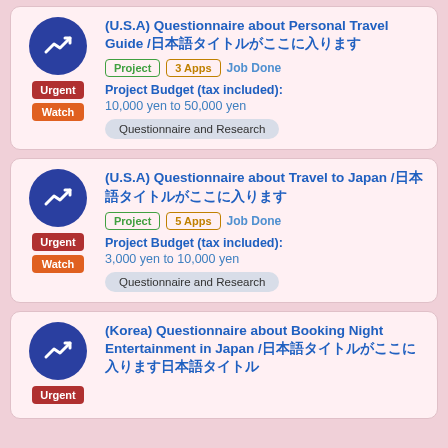(U.S.A) Questionnaire about Personal Travel Guide /日本語タイトルがここに入ります
Project | 3 Apps | Job Done
Project Budget (tax included): 10,000 yen to 50,000 yen
Questionnaire and Research
(U.S.A) Questionnaire about Travel to Japan /日本語タイトルがここに入ります
Project | 5 Apps | Job Done
Project Budget (tax included): 3,000 yen to 10,000 yen
Questionnaire and Research
(Korea) Questionnaire about Booking Night Entertainment in Japan /日本語タイトルがここに入ります
Urgent